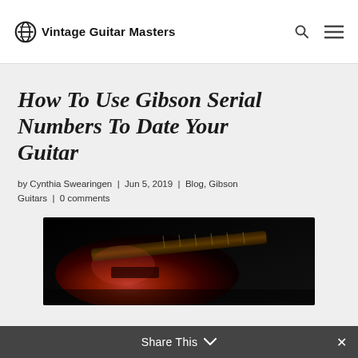Vintage Guitar Masters
How To Use Gibson Serial Numbers To Date Your Guitar
by Cynthia Swearingen | Jun 5, 2019 | Blog, Gibson Guitars | 0 comments
[Figure (photo): Close-up photo of a red vintage Gibson electric guitar body and neck against a dark background]
Share This